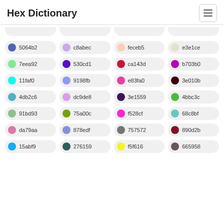Hex Dictionary
5064b2, c8abec, feceb5, e3e1ce, 7eea92, 530cd1, ca143d, b703b0, 11faf0, 9198fb, e83fa0, 3e010b, 4db2c6, dc9de8, 3e1559, 4bbc3c, 91bd93, 75a00c, f528cf, 68c8bf, da79aa, 878edf, 757572, 890d2b, 15abf9, 276159, f5f616, 665958